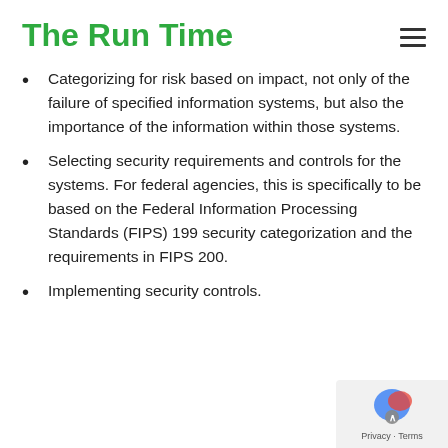The Run Time
Categorizing for risk based on impact, not only of the failure of specified information systems, but also the importance of the information within those systems.
Selecting security requirements and controls for the systems. For federal agencies, this is specifically to be based on the Federal Information Processing Standards (FIPS) 199 security categorization and the requirements in FIPS 200.
Implementing security controls.